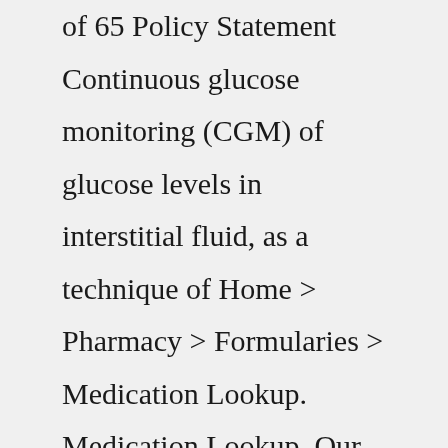of 65 Policy Statement Continuous glucose monitoring (CGM) of glucose levels in interstitial fluid, as a technique of Home > Pharmacy > Formularies > Medication Lookup. Medication Lookup. Our formularies offer members coverage for a variety of medications. Use the links below to find out if a medication is covered on the member's formulary. We'll pair you with a Team Blue Care Manager, who can provide extra support to all the moving parts of your